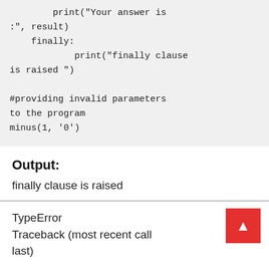print("Your answer is :", result)
    finally:
            print("finally clause is raised ")

#providing invalid parameters to the program
minus(1, '0')
Output:
finally clause is raised
TypeError
Traceback (most recent call last)